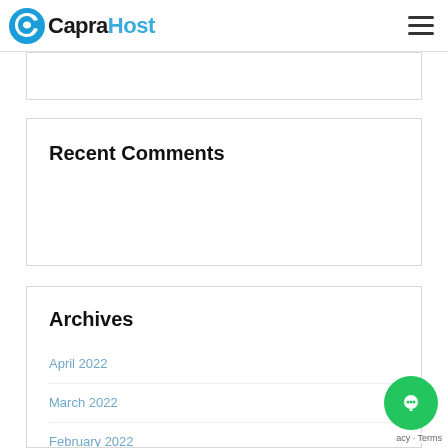CapraHost
Recent Comments
Archives
April 2022
March 2022
February 2022